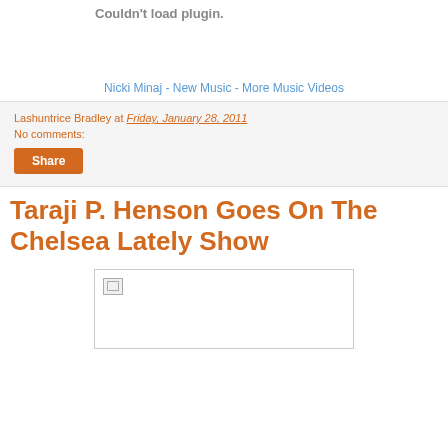Couldn't load plugin.
Nicki Minaj - New Music - More Music Videos
Lashuntrice Bradley at Friday, January 28, 2011
No comments:
Share
Taraji P. Henson Goes On The Chelsea Lately Show
[Figure (photo): Broken image placeholder for Taraji P. Henson Chelsea Lately Show]